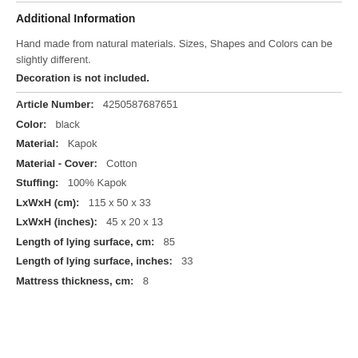Additional Information
Hand made from natural materials. Sizes, Shapes and Colors can be slightly different.
Decoration is not included.
Article Number:  4250587687651
Color:  black
Material:  Kapok
Material - Cover:  Cotton
Stuffing:  100% Kapok
LxWxH (cm):  115 x 50 x 33
LxWxH (inches):  45 x 20 x 13
Length of lying surface, cm:  85
Length of lying surface, inches:  33
Mattress thickness, cm:  8